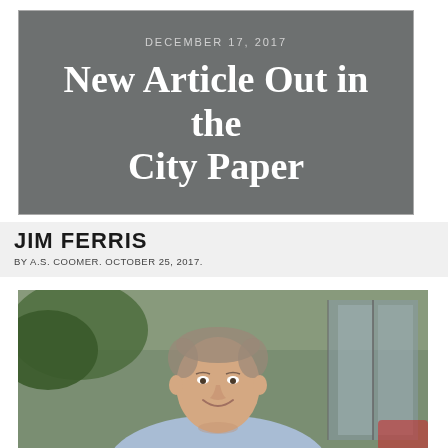DECEMBER 17, 2017
New Article Out in the City Paper
JIM FERRIS
BY A.S. COOMER. OCTOBER 25, 2017.
[Figure (photo): Photo of Jim Ferris, a middle-aged man with light hair, smiling, wearing a light blue button-down shirt, photographed outdoors with blurred green foliage and glass doors in the background.]